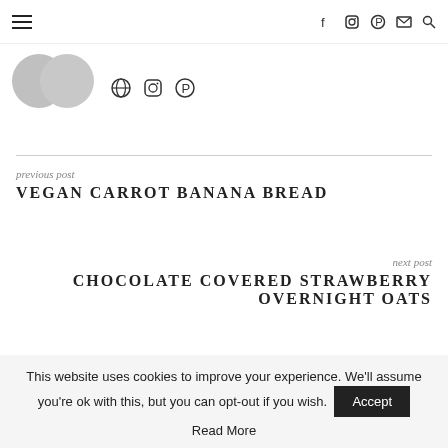Navigation bar with hamburger menu and social icons (Facebook, Instagram, Pinterest, Email, Search)
[Figure (illustration): Two overlapping circular avatar placeholder silhouettes in gray, with globe, Instagram, and Pinterest icons to the right]
previous post
VEGAN CARROT BANANA BREAD
next post
CHOCOLATE COVERED STRAWBERRY OVERNIGHT OATS
YOU MAY ALSO LIKE
This website uses cookies to improve your experience. We'll assume you're ok with this, but you can opt-out if you wish.
Accept
Read More